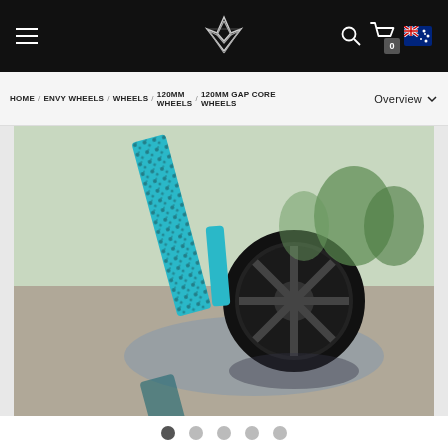Navigation header with hamburger menu, brand logo, search icon, cart icon (0), and Australian flag
HOME / ENVY WHEELS / WHEELS / 120MM WHEELS / 120MM GAP CORE WHEELS   Overview
[Figure (photo): Close-up photo of a teal/black splatter painted pro scooter deck and wheel reflected in a puddle of water on pavement, outdoors]
• • • • •  (image carousel dots, first active)